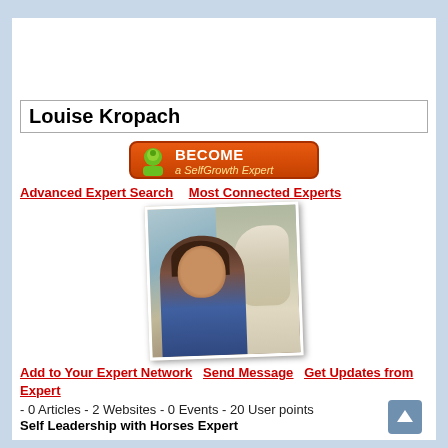Louise Kropach
[Figure (illustration): Orange 'BECOME a SelfGrowth Expert' button with a green person icon]
Advanced Expert Search   Most Connected Experts
[Figure (photo): Woman with curly brown hair smiling next to a white horse, photo slightly rotated]
Add to Your Expert Network   Send Message   Get Updates from Expert
- 0 Articles - 2 Websites - 0 Events - 20 User points
Self Leadership with Horses Expert